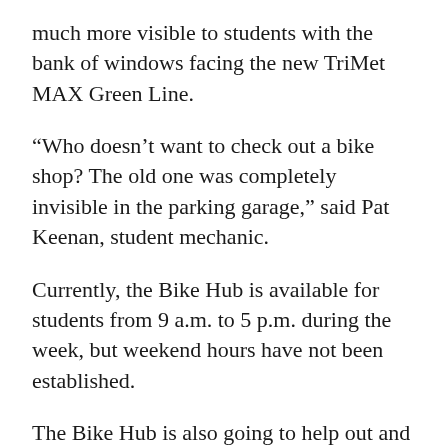much more visible to students with the bank of windows facing the new TriMet MAX Green Line.
“Who doesn’t want to check out a bike shop? The old one was completely invisible in the parking garage,” said Pat Keenan, student mechanic.
Currently, the Bike Hub is available for students from 9 a.m. to 5 p.m. during the week, but weekend hours have not been established.
The Bike Hub is also going to help out and support the PSU Bicycle Advocacy Collective (PSUBAC). This week, they will be helping host the Breakfast for Bikers.
Benefits for bikers